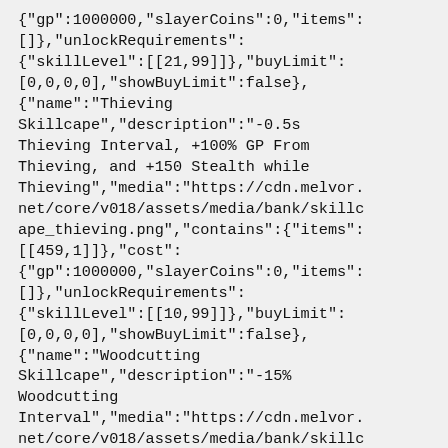{"gp":1000000,"slayerCoins":0,"items":[]},"unlockRequirements":{"skillLevel":[[21,99]]},"buyLimit":[0,0,0,0],"showBuyLimit":false},{"name":"Thieving Skillcape","description":"-0.5s Thieving Interval, +100% GP From Thieving, and +150 Stealth while Thieving","media":"https://cdn.melvor.net/core/v018/assets/media/bank/skillcape_thieving.png","contains":{"items":[[459,1]]},"cost":{"gp":1000000,"slayerCoins":0,"items":[]},"unlockRequirements":{"skillLevel":[[10,99]]},"buyLimit":[0,0,0,0],"showBuyLimit":false},{"name":"Woodcutting Skillcape","description":"-15% Woodcutting Interval","media":"https://cdn.melvor.net/core/v018/assets/media/bank/skillc